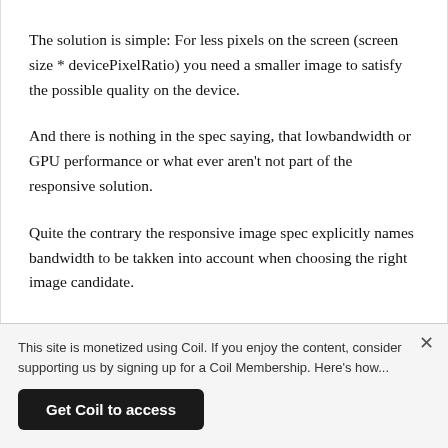The solution is simple: For less pixels on the screen (screen size * devicePixelRatio) you need a smaller image to satisfy the possible quality on the device.
And there is nothing in the spec saying, that lowbandwidth or GPU performance or what ever aren't not part of the responsive solution.
Quite the contrary the responsive image spec explicitly names bandwidth to be takken into account when choosing the right image candidate.
The current implementations doesn't do this, because even for a
This site is monetized using Coil. If you enjoy the content, consider supporting us by signing up for a Coil Membership. Here's how...
Get Coil to access